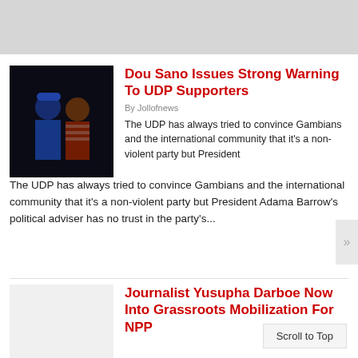[Figure (photo): Top banner/advertisement area with gray background]
[Figure (photo): Dark night photo of two people, one in blue cap and blue shirt, another in red striped shirt]
Dou Sano Issues Strong Warning To UDP Supporters
By Jollofnews
The UDP has always tried to convince Gambians and the international community that it's a non-violent party but President Adama Barrow's political adviser has no trust in the party's...
[Figure (photo): Placeholder image area for second article]
Journalist Yusupha Darboe Now Into Grassroots Mobilization For NPP
By Jollofnews
Former local language journalist Yusupha Darboe has now directed some of his energy to the mobilization of grassroots support for P...